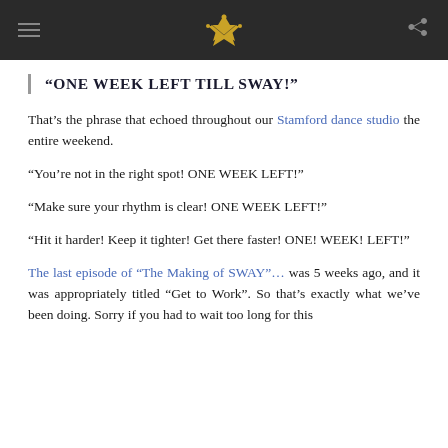Navigation bar with hamburger menu, crown logo, and share icon
“ONE WEEK LEFT TILL SWAY!”
That’s the phrase that echoed throughout our Stamford dance studio the entire weekend.
“You’re not in the right spot! ONE WEEK LEFT!”
“Make sure your rhythm is clear! ONE WEEK LEFT!”
“Hit it harder! Keep it tighter! Get there faster! ONE! WEEK! LEFT!”
The last episode of “The Making of SWAY”… was 5 weeks ago, and it was appropriately titled “Get to Work”. So that’s exactly what we’ve been doing. Sorry if you had to wait too long for this